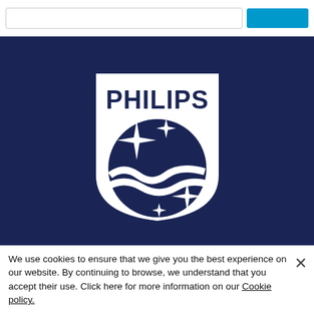[Figure (logo): Philips shield logo in white on dark navy background, with PHILIPS text, wave pattern, and four-pointed stars]
Connect with us
We use cookies to ensure that we give you the best experience on our website. By continuing to browse, we understand that you accept their use. Click here for more information on our Cookie policy.